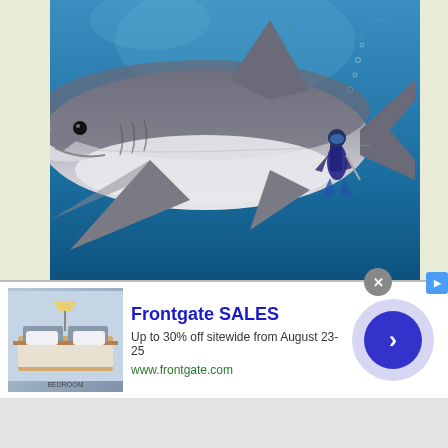[Figure (photo): Underwater photograph of a great white shark swimming near a scuba diver in blue ocean water. The shark is large and prominent in the foreground.]
Where do you find great white shark?
w... u... s... fe...
[Figure (infographic): Advertisement banner for Frontgate SALES showing bedroom furniture. Text: Frontgate SALES, Up to 30% off sitewide from August 23-25, www.frontgate.com. Includes a close button and navigation arrow button.]